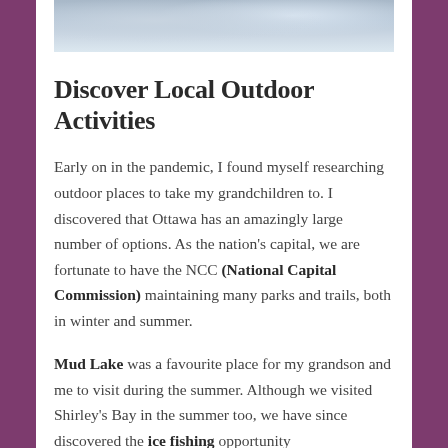[Figure (photo): Aerial or landscape photo showing snow/ice covered outdoor scene, likely a winter nature area.]
Discover Local Outdoor Activities
Early on in the pandemic, I found myself researching outdoor places to take my grandchildren to. I discovered that Ottawa has an amazingly large number of options. As the nation's capital, we are fortunate to have the NCC (National Capital Commission) maintaining many parks and trails, both in winter and summer.
Mud Lake was a favourite place for my grandson and me to visit during the summer. Although we visited Shirley's Bay in the summer too, we have since discovered the ice fishing opportunity